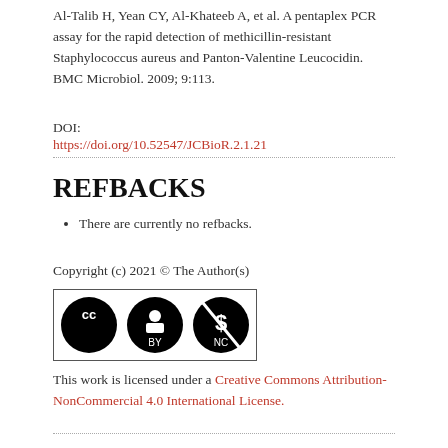Al-Talib H, Yean CY, Al-Khateeb A, et al. A pentaplex PCR assay for the rapid detection of methicillin-resistant Staphylococcus aureus and Panton-Valentine Leucocidin. BMC Microbiol. 2009; 9:113.
DOI:
https://doi.org/10.52547/JCBioR.2.1.21
REFBACKS
There are currently no refbacks.
Copyright (c) 2021 © The Author(s)
[Figure (logo): Creative Commons BY-NC license badge]
This work is licensed under a Creative Commons Attribution-NonCommercial 4.0 International License.